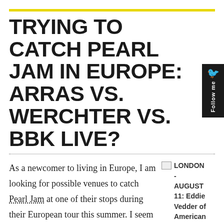TRYING TO CATCH PEARL JAM IN EUROPE: ARRAS VS. WERCHTER VS. BBK LIVE?
As a newcomer to living in Europe, I am looking for possible venues to catch Pearl Jam at one of their stops during their European tour this summer. I seem to have already missed the window for the concert in Berlin but I am now trying to catch them somewhere else in Europe. My current options are: the
[Figure (photo): Broken image placeholder with caption: LONDON - AUGUST 11: Eddie Vedder of American ...]
Image by Getty Images via Daylife